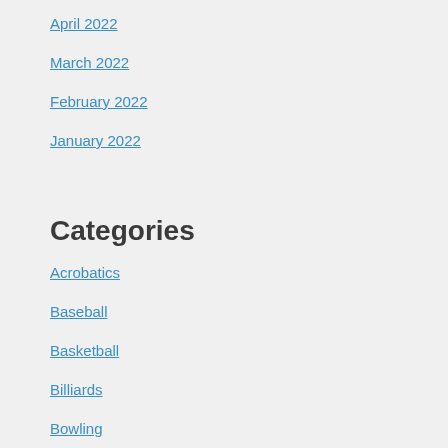April 2022
March 2022
February 2022
January 2022
Categories
Acrobatics
Baseball
Basketball
Billiards
Bowling
Boxing
Car Racing